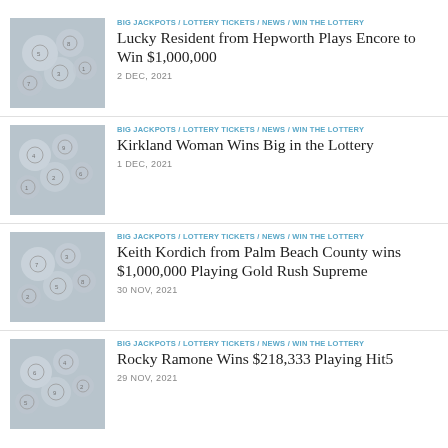BIG JACKPOTS / LOTTERY TICKETS / NEWS / WIN THE LOTTERY
Lucky Resident from Hepworth Plays Encore to Win $1,000,000
2 DEC, 2021
BIG JACKPOTS / LOTTERY TICKETS / NEWS / WIN THE LOTTERY
Kirkland Woman Wins Big in the Lottery
1 DEC, 2021
BIG JACKPOTS / LOTTERY TICKETS / NEWS / WIN THE LOTTERY
Keith Kordich from Palm Beach County wins $1,000,000 Playing Gold Rush Supreme
30 NOV, 2021
BIG JACKPOTS / LOTTERY TICKETS / NEWS / WIN THE LOTTERY
Rocky Ramone Wins $218,333 Playing Hit5
29 NOV, 2021